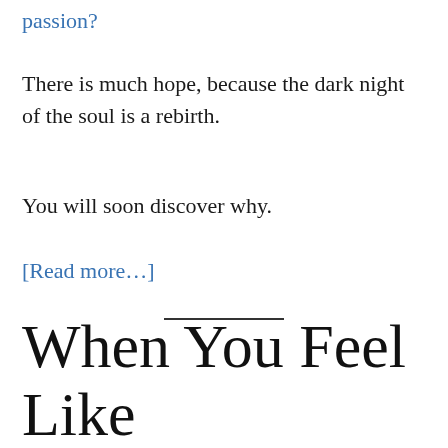passion?
There is much hope, because the dark night of the soul is a rebirth.
You will soon discover why.
[Read more…]
When You Feel Like